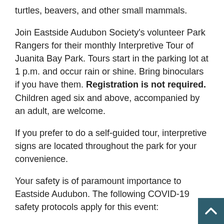turtles, beavers, and other small mammals.
Join Eastside Audubon Society's volunteer Park Rangers for their monthly Interpretive Tour of Juanita Bay Park. Tours start in the parking lot at 1 p.m. and occur rain or shine. Bring binoculars if you have them. Registration is not required. Children aged six and above, accompanied by an adult, are welcome.
If you prefer to do a self-guided tour, interpretive signs are located throughout the park for your convenience.
Your safety is of paramount importance to Eastside Audubon. The following COVID-19 safety protocols apply for this event:
This event is entirely outdoors but is restricted to fully vaccinated persons only, wearing of a mask is optional.
Participants are required to self-assess prior to the event and not attend if they have any COVID-19